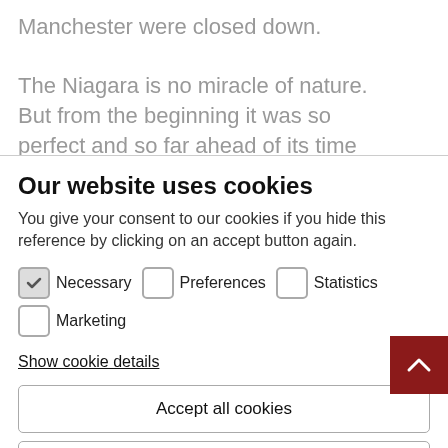Manchester were closed down.
The Niagara is no miracle of nature. But from the beginning it was so perfect and so far ahead of its time that it has accompanied its creator
Our website uses cookies
You give your consent to our cookies if you hide this reference by clicking on an accept button again.
Necessary  Preferences  Statistics  Marketing
Show cookie details
Accept all cookies
Confirm selection and save
Reject all cookies